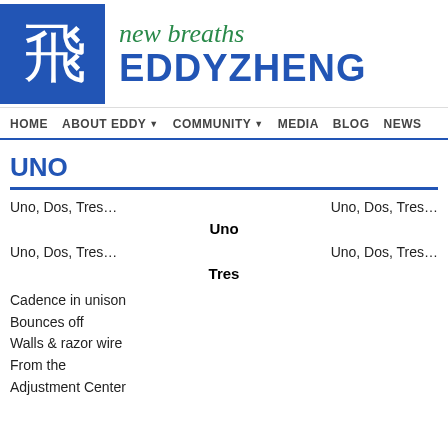[Figure (logo): Blue square logo with white Chinese character for 'fly', next to site title 'new breaths EDDYZHENG' in green italic and blue bold text]
HOME  ABOUT EDDY ▼  COMMUNITY ▼  MEDIA  BLOG  NEWS
UNO
Uno, Dos, Tres...    Uno, Dos, Tres...
Uno
Uno, Dos, Tres...    Uno, Dos, Tres...
Tres
Cadence in unison
Bounces off
Walls & razor wire
From the
Adjustment Center